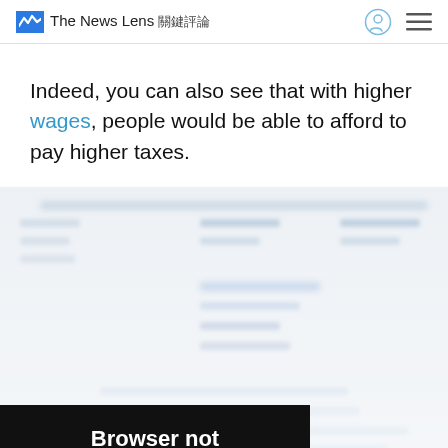The News Lens 關鍵評論
Indeed, you can also see that with higher wages, people would be able to afford to pay higher taxes.
[Figure (screenshot): Blurred chart/table content partially visible behind a browser compatibility overlay popup]
Browser not compatible
You may need to update your browser
Report ID: 1gb6csclk46g6ksafn1
Powered by GliaStudio